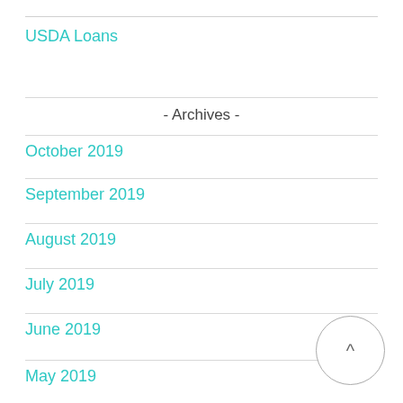USDA Loans
- Archives -
October 2019
September 2019
August 2019
July 2019
June 2019
May 2019